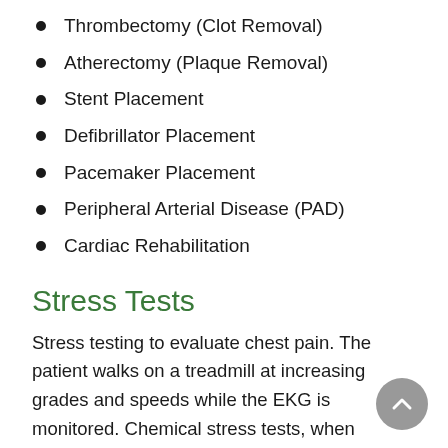Thrombectomy (Clot Removal)
Atherectomy (Plaque Removal)
Stent Placement
Defibrillator Placement
Pacemaker Placement
Peripheral Arterial Disease (PAD)
Cardiac Rehabilitation
Stress Tests
Stress testing to evaluate chest pain. The patient walks on a treadmill at increasing grades and speeds while the EKG is monitored. Chemical stress tests, when medicines are administered to stimulate the heart, are offered in many cases. Both tests are designed to show if chest pain is heart-related.